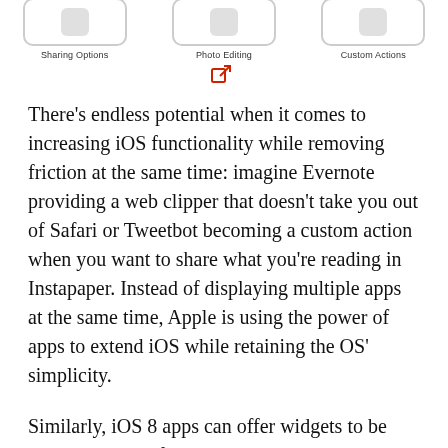[Figure (illustration): Three iPhone screens shown side by side with labels: Sharing Options, Photo Editing, Custom Actions. Below the center phone is a red external link icon.]
Sharing Options   Photo Editing   Custom Actions
There's endless potential when it comes to increasing iOS functionality while removing friction at the same time: imagine Evernote providing a web clipper that doesn't take you out of Safari or Tweetbot becoming a custom action when you want to share what you're reading in Instapaper. Instead of displaying multiple apps at the same time, Apple is using the power of apps to extend iOS while retaining the OS' simplicity.
Similarly, iOS 8 apps can offer widgets to be loaded into Notification Center's updated and extensible Today view. In Apple's demo, an eBay widget was shown, displaying ongoing bids in the